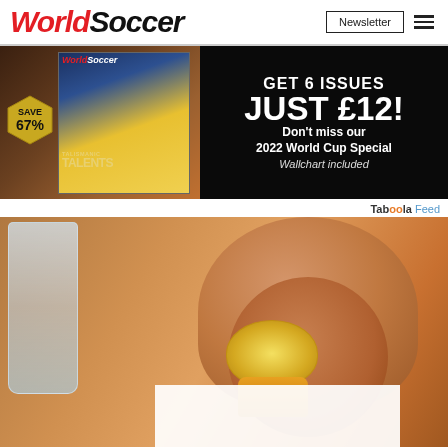WorldSoccer | Newsletter
[Figure (photo): World Soccer magazine advertisement banner: magazine cover showing football players with 'TALISMANIC TALENTS' text, SAVE 67% badge, and right side showing 'GET 6 ISSUES JUST £12! Don't miss our 2022 World Cup Special Wallchart included' on black background]
Taboola Feed
[Figure (photo): Close-up photo of hands squeezing a lemon, with a glass of water visible on the left side. White overlay box visible at bottom right.]